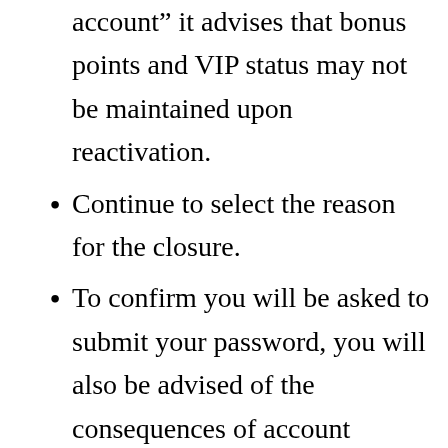account” it advises that bonus points and VIP status may not be maintained upon reactivation.
Continue to select the reason for the closure.
To confirm you will be asked to submit your password, you will also be advised of the consequences of account closure.
You will then be shown a second confirmation to help prevent any errors.
If you have confirmed “yes” you will then be presented with the final confirmation.